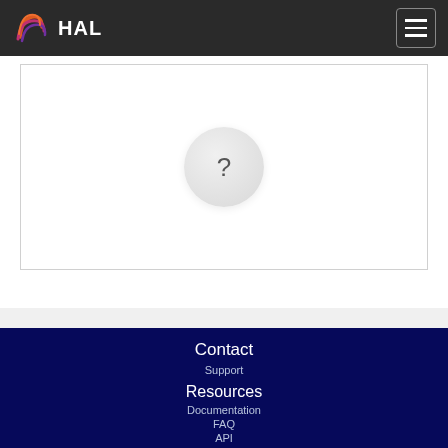HAL
[Figure (other): A circular loading/question mark placeholder icon on white background with thin border]
[Figure (infographic): Horizontal color bar with alternating olive green and dark gray segments]
Contact
Support
Resources
Documentation
FAQ
API
OAI-PMH